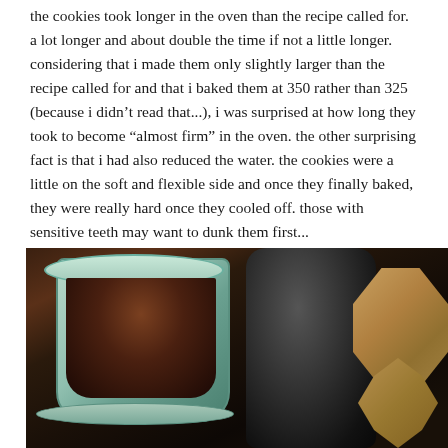the cookies took longer in the oven than the recipe called for.  a lot longer and about double the time if not a little longer.  considering that i made them only slightly larger than the recipe called for and that i baked them at 350 rather than 325 (because i didn't read that...), i was surprised at how long they took to become "almost firm" in the oven.  the other surprising fact is that i had also reduced the water.  the cookies were a little on the soft and flexible side and once they finally baked, they were really hard once they cooled off.  those with sensitive teeth may want to dunk them first...
[Figure (photo): A photograph showing a light blue/green ceramic tea cup filled with dark tea on a matching saucer, a dark grey vessel in the center background, and star-shaped brown cookies on the right side, all on a dark wooden table surface.]